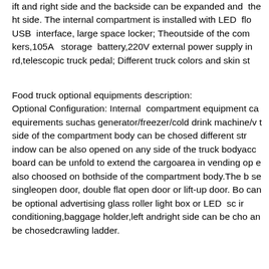ift and right side and the backside can be expanded and the ht side. The internal compartment is installed with LED flo USB interface, large space locker; Theoutside of the com kers,105A storage battery,220V external power supply in rd,telescopic truck pedal; Different truck colors and skin st
Food truck optional equipments description: Optional Configuration: Internal compartment equipment ca equirements suchas generator/freezer/cold drink machine/v t side of the compartment body can be chosed different str indow can be also opened on any side of the truck bodyacc board can be unfold to extend the cargoarea in vending op e also choosed on bothside of the compartment body.The b se singleopen door, double flat open door or lift-up door. Bo can be optional advertising glass roller light box or LED sc ir conditioning,baggage holder,left andright side can be cho an be chosedcrawling ladder.